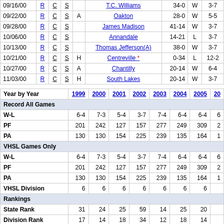| Date | R | C | S | H/A | Opponent | Score | W/L | Record |
| --- | --- | --- | --- | --- | --- | --- | --- | --- |
| 09/16/00 | R | C | S |  | T.C. Williams | 34-0 | W | 3-7 |
| 09/22/00 | R | C | S | A | Oakton | 28-0 | W | 5-5 |
| 09/28/00 | R | C | S |  | James Madison | 41-14 | W | 3-7 |
| 10/06/00 | R | C | S |  | Annandale | 14-21 | L | 3-7 |
| 10/13/00 | R | C | S |  | Thomas Jefferson(A) | 38-0 | W | 3-7 |
| 10/21/00 | R | C | S | H | Centreville * | 0-34 | L | 12-2 |
| 10/27/00 | R | C | S | A | Chantilly | 20-14 | W | 6-4 |
| 11/03/00 | R | C | S | H | South Lakes | 20-14 | W | 3-7 |
| Year by Year | 1999 | 2000 | 2001 | 2002 | 2003 | 2004 | 2005 | 20... |
| --- | --- | --- | --- | --- | --- | --- | --- | --- |
| Record All Games |  |  |  |  |  |  |  |  |
| W-L | 6-4 | 7-3 | 5-4 | 3-7 | 7-4 | 6-4 | 6-4 | 6... |
| PF | 201 | 242 | 127 | 157 | 277 | 249 | 309 | 2... |
| PA | 130 | 130 | 154 | 225 | 239 | 135 | 164 | 1... |
| VHSL Games Only |  |  |  |  |  |  |  |  |
| W-L | 6-4 | 7-3 | 5-4 | 3-7 | 7-4 | 6-4 | 6-4 | 6... |
| PF | 201 | 242 | 127 | 157 | 277 | 249 | 309 | 2... |
| PA | 130 | 130 | 154 | 225 | 239 | 135 | 164 | 1... |
| VHSL Division | 6 | 6 | 6 | 6 | 6 | 6 | 6 |  |
| Rankings |  |  |  |  |  |  |  |  |
| State Rank | 31 | 24 | 25 | 59 | 14 | 25 | 20 |  |
| Division Rank | 17 | 14 | 18 | 34 | 12 | 18 | 14 |  |
| 1999-19 State Rank 5078 Teams | 457 | 308 | 385 | 852 | 181 | 321 | 292 | 3... |
| Ratings |  |  |  |  |  |  |  |  |